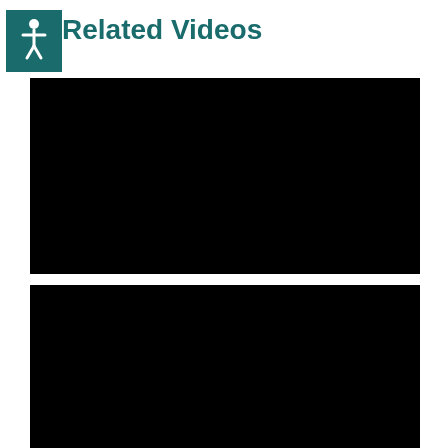Related Videos
[Figure (other): Black video player embed, first related video]
[Figure (other): Black video player embed, second related video]